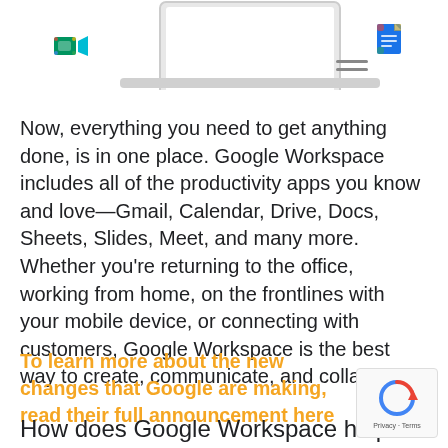[Figure (screenshot): Header area with Google Meet icon (top-left), laptop illustration (top-center), Google Docs icon (top-right), and hamburger menu icon]
Now, everything you need to get anything done, is in one place. Google Workspace includes all of the productivity apps you know and love—Gmail, Calendar, Drive, Docs, Sheets, Slides, Meet, and many more. Whether you're returning to the office, working from home, on the frontlines with your mobile device, or connecting with customers, Google Workspace is the best way to create, communicate, and collaborate.
To learn more about the new changes that Google are making, read their full announcement here
How does Google Workspace help?